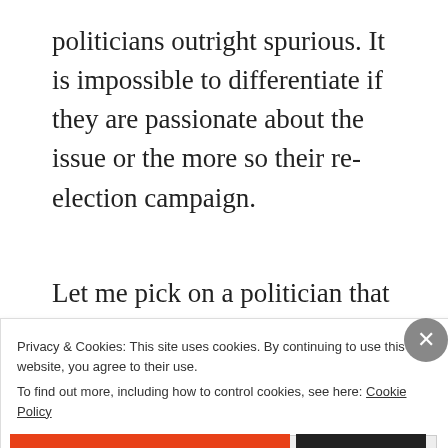politicians outright spurious. It is impossible to differentiate if they are passionate about the issue or the more so their re-election campaign.
Let me pick on a politician that demonstrates these principles,… Rand Paul. He's a relatively unique Republican from an ideological standpoint.
Privacy & Cookies: This site uses cookies. By continuing to use this website, you agree to their use. To find out more, including how to control cookies, see here: Cookie Policy
Close and accept